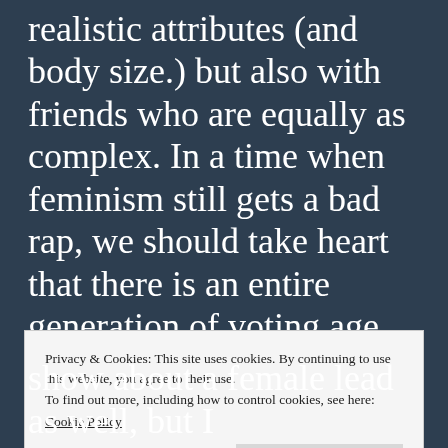realistic attributes (and body size.) but also with friends who are equally as complex. In a time when feminism still gets a bad rap, we should take heart that there is an entire generation of voting age, working adults who grew up with Buffy and learned how to treat themselves and others as equals. Buffy was also a high school girl-who actually looked like a high school girl. I mean,
Privacy & Cookies: This site uses cookies. By continuing to use this website, you agree to their use.
To find out more, including how to control cookies, see here:
Cookie Policy
Close and accept
show about a female lead as well, but I